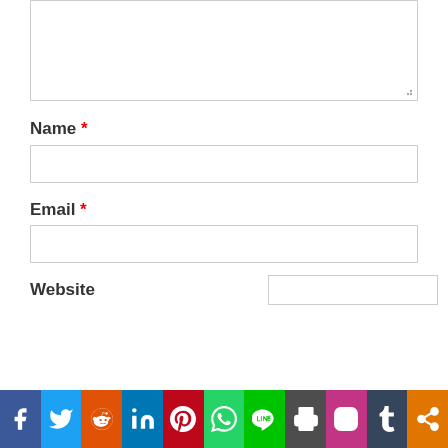[Figure (screenshot): Comment form textarea (top portion visible), partially cut at top]
Name *
[Figure (screenshot): Name input text field (empty)]
Email *
[Figure (screenshot): Email input text field (empty)]
Website
[Figure (screenshot): Website input text field (partially visible, right side)]
[Figure (infographic): Social share bar with icons: Facebook, Twitter, Reddit, LinkedIn, Pinterest, WhatsApp, LINE, Print, Instagram, Tumblr, Share]